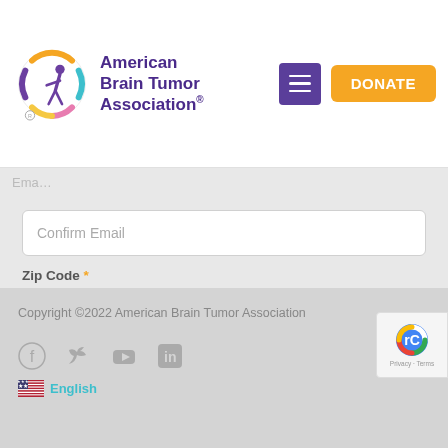[Figure (logo): American Brain Tumor Association logo with circular multicolor ring and figure, purple text name]
Confirm Email
Zip Code *
Zip Code
SUBSCRIBE!
Copyright © 2022 American Brain Tumor Association
English